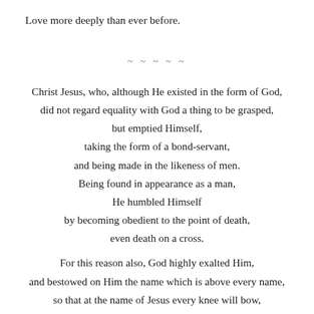Love more deeply than ever before.
~ ~ ~ ~ ~
Christ Jesus, who, although He existed in the form of God, did not regard equality with God a thing to be grasped, but emptied Himself, taking the form of a bond-servant, and being made in the likeness of men. Being found in appearance as a man, He humbled Himself by becoming obedient to the point of death, even death on a cross. For this reason also, God highly exalted Him, and bestowed on Him the name which is above every name, so that at the name of Jesus every knee will bow,